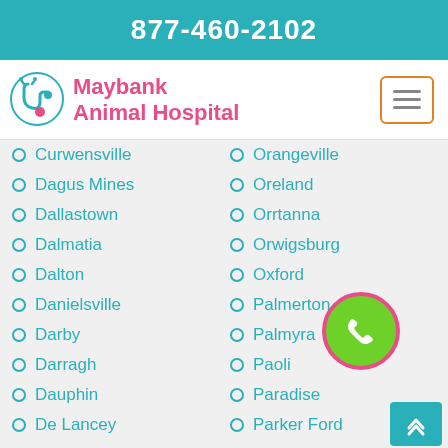877-460-2102
[Figure (logo): Maybank Animal Hospital logo with teal stethoscope/paw icon and pink text]
Curwensville
Dagus Mines
Dallastown
Dalmatia
Dalton
Danielsville
Darby
Darragh
Dauphin
De Lancey
Delano
Delmont
Delta
Orangeville
Oreland
Orrtanna
Orwigsburg
Oxford
Palmerton
Palmyra
Paoli
Paradise
Parker Ford
Parkesburg
Parryville
Peach Bottom